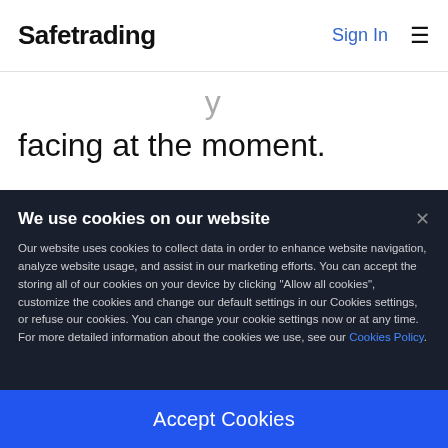Safetrading  Sign In  ☰
facing at the moment.
We use cookies on our website
Our website uses cookies to collect data in order to enhance website navigation, analyze website usage, and assist in our marketing efforts. You can accept the storing all of our cookies on your device by clicking "Allow all cookies", customize the cookies and change our default settings in our Cookies settings, or refuse our cookies. You can change your cookie settings now or at any time.
For more detailed information about the cookies we use, see our Cookies Policy.
Accept Cookies